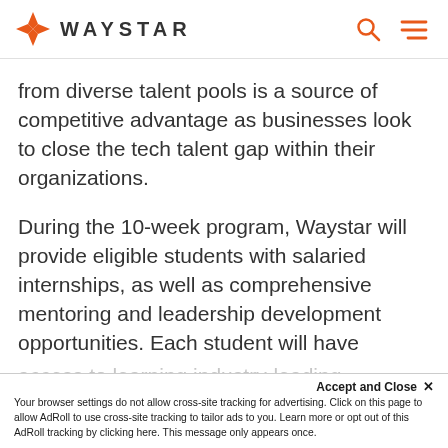WAYSTAR
from diverse talent pools is a source of competitive advantage as businesses look to close the tech talent gap within their organizations.
During the 10-week program, Waystar will provide eligible students with salaried internships, as well as comprehensive mentoring and leadership development opportunities. Each student will have
access to learning industry-leading...
Accept and Close ×
Your browser settings do not allow cross-site tracking for advertising. Click on this page to allow AdRoll to use cross-site tracking to tailor ads to you. Learn more or opt out of this AdRoll tracking by clicking here. This message only appears once.